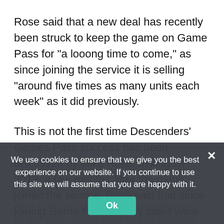Rose said that a new deal has recently been struck to keep the game on Game Pass for "a looong time to come," as since joining the service it is selling "around five times as many units each week" as it did previously.
This is not the first time Descenders' Games Pass success has been discussed by Mike Rose. In August 2019, a few months after the game joined the service, Rose said that since joining Game Pass weekly sales were about three times higher than they'd been previously. This was also around the time that the game left Game Preview.
At the time, Rose said "you'd imagine the numbers will go down, which makes it less worth it to people,"
We use cookies to ensure that we give you the best experience on our website. If you continue to use this site we will assume that you are happy with it.